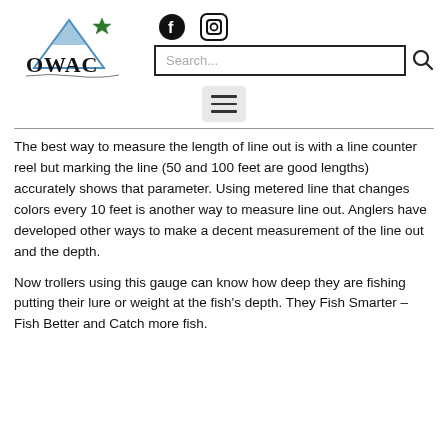[Figure (logo): OWAC logo with mountain and star graphic, text 'OWAC' and 'Outdoor Writers Association of California']
[Figure (illustration): Facebook and Instagram social media icons]
[Figure (screenshot): Search bar input field with search icon]
[Figure (illustration): Hamburger menu button with three horizontal lines]
The best way to measure the length of line out is with a line counter reel but marking the line (50 and 100 feet are good lengths) accurately shows that parameter.  Using metered line that changes colors every 10 feet is another way to measure line out.  Anglers have developed other ways to make a decent measurement of the line out and the depth.
Now trollers using this gauge can know how deep they are fishing putting their lure or weight at the fish's depth.  They Fish Smarter – Fish Better and Catch more fish.